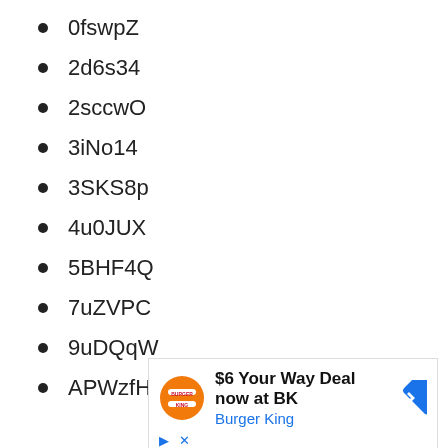0fswpZ
2d6s34
2sccwO
3iNo14
3SKS8p
4u0JUX
5BHF4Q
7uZVPC
9uDQqW
APWzfH
[Figure (other): Burger King advertisement: $6 Your Way Deal now at BK with Burger King logo and navigation arrow icon]